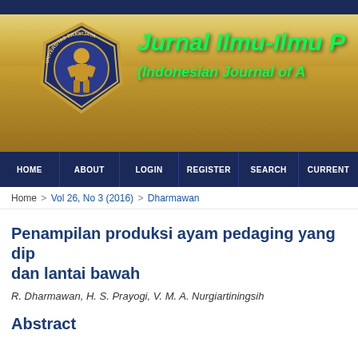[Figure (illustration): Universitas Brawijaya journal website header banner with logo and journal title 'Jurnal Ilmu-Ilmu P' and subtitle '(Indonesian Journal of A' on a wheat field background]
HOME | ABOUT | LOGIN | REGISTER | SEARCH | CURRENT
Home > Vol 26, No 3 (2016) > Dharmawan
Penampilan produksi ayam pedaging yang dip dan lantai bawah
R. Dharmawan, H. S. Prayogi, V. M. A. Nurgiartiningsih
Abstract